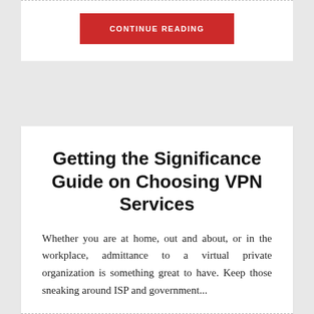No Comments
CONTINUE READING
Getting the Significance Guide on Choosing VPN Services
Whether you are at home, out and about, or in the workplace, admittance to a virtual private organization is something great to have. Keep those sneaking around ISP and government...